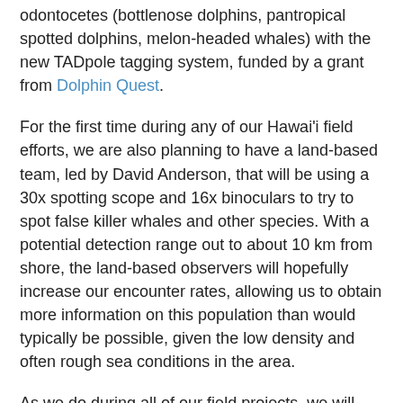odontocetes (bottlenose dolphins, pantropical spotted dolphins, melon-headed whales) with the new TADpole tagging system, funded by a grant from Dolphin Quest.
For the first time during any of our Hawai'i field efforts, we are also planning to have a land-based team, led by David Anderson, that will be using a 30x spotting scope and 16x binoculars to try to spot false killer whales and other species. With a potential detection range out to about 10 km from shore, the land-based observers will hopefully increase our encounter rates, allowing us to obtain more information on this population than would typically be possible, given the low density and often rough sea conditions in the area.
As we do during all of our field projects, we will also be obtaining photos from most species of odontocetes we encounter, to contribute to ongoing studies of residency patterns and social organization and to estimate population sizes, and collecting biopsy samples for hormone chemistry, toxicology, and genetic studies. Check out our field update page if you want to see what we